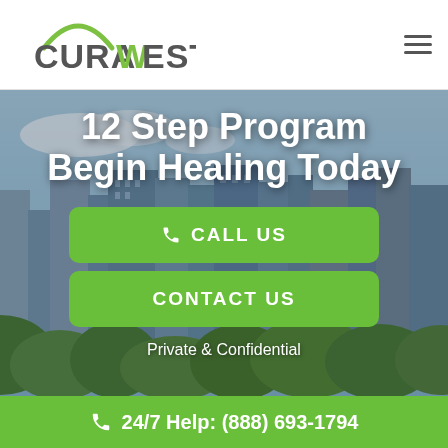[Figure (logo): CuraWest logo with green arc above text, CURA in dark gray, W in green, EST in dark gray]
[Figure (screenshot): City skyline background image with buildings and trees, used as hero banner background]
12 Step Program Begin Healing Today
CALL US
CONTACT US
Private & Confidential
24/7 Help: (888) 693-1794